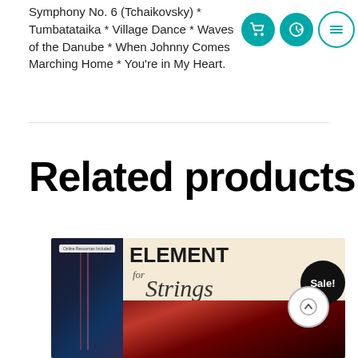Symphony No. 6 (Tchaikovsky) * Tumbatataika * Village Dance * Waves of the Danube * When Johnny Comes Marching Home * You're in My Heart.
Related products
[Figure (photo): Book cover for 'Elements for Strings' with a Sale! badge overlay. Left portion shows dark strings/instrument photo, right portion has cream background with title text. A black circular Sale! badge is overlaid.]